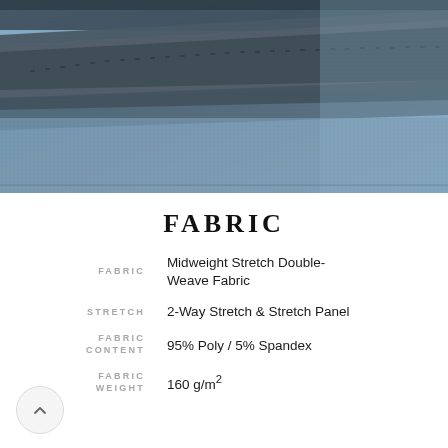[Figure (photo): Close-up photo of blue and dark gray stretch fabric showing double-weave texture and stitching detail]
FABRIC
| Property | Value |
| --- | --- |
| FABRIC | Midweight Stretch Double-Weave Fabric |
| STRETCH | 2-Way Stretch & Stretch Panel |
| FABRIC CONTENT | 95% Poly / 5% Spandex |
| FABRIC WEIGHT | 160 g/m² |